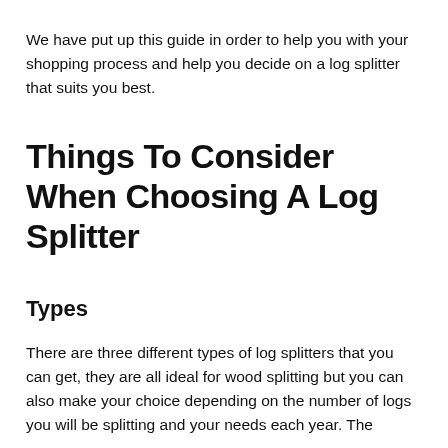We have put up this guide in order to help you with your shopping process and help you decide on a log splitter that suits you best.
Things To Consider When Choosing A Log Splitter
Types
There are three different types of log splitters that you can get, they are all ideal for wood splitting but you can also make your choice depending on the number of logs you will be splitting and your needs each year. The